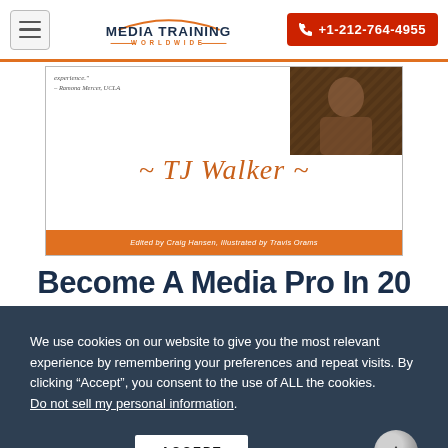Media Training Worldwide | +1-212-764-4955
[Figure (illustration): Book cover for TJ Walker book, showing a quote attributed to Ramona Mercer UCLA, a photo of a person, the name '~ TJ Walker ~' in orange italic font, and an orange bar at the bottom reading 'Edited by Craig Hansen, Illustrated by Travis Orams']
Become A Media Pro In 20
We use cookies on our website to give you the most relevant experience by remembering your preferences and repeat visits. By clicking “Accept”, you consent to the use of ALL the cookies. Do not sell my personal information.
Cookie settings | ACCEPT